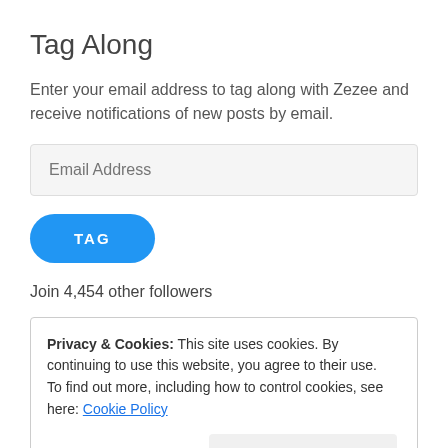Tag Along
Enter your email address to tag along with Zezee and receive notifications of new posts by email.
[Figure (other): Email Address input field placeholder]
[Figure (other): TAG button — blue rounded pill button]
Join 4,454 other followers
Privacy & Cookies: This site uses cookies. By continuing to use this website, you agree to their use.
To find out more, including how to control cookies, see here: Cookie Policy
[Figure (other): Close and accept button]
2021 Intentional